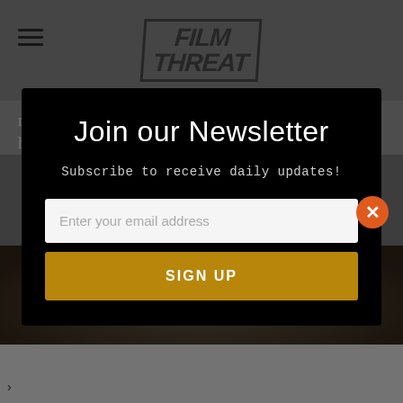[Figure (screenshot): Film Threat website header with hamburger menu icon on left and Film Threat logo in center, on gray background]
matter how much the little girl pleads, the mother won't help her with the dress, which leads to the little girls
[Figure (photo): Behind-the-scenes or movie still photo showing people, partially visible at bottom of page]
Join our Newsletter
Subscribe to receive daily updates!
Enter your email address
SIGN UP